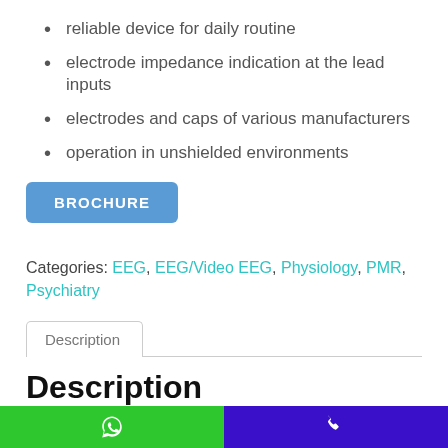reliable device for daily routine
electrode impedance indication at the lead inputs
electrodes and caps of various manufacturers
operation in unshielded environments
BROCHURE
Categories: EEG, EEG/Video EEG, Physiology, PMR, Psychiatry
Description
Description
Reliable device for daily routine
For 27 years, Neurosoft has been designing and producing